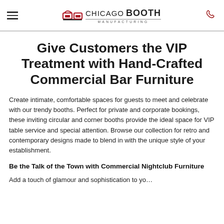Chicago Booth Manufacturing
Give Customers the VIP Treatment with Hand-Crafted Commercial Bar Furniture
Create intimate, comfortable spaces for guests to meet and celebrate with our trendy booths. Perfect for private and corporate bookings, these inviting circular and corner booths provide the ideal space for VIP table service and special attention. Browse our collection for retro and contemporary designs made to blend in with the unique style of your establishment.
Be the Talk of the Town with Commercial Nightclub Furniture